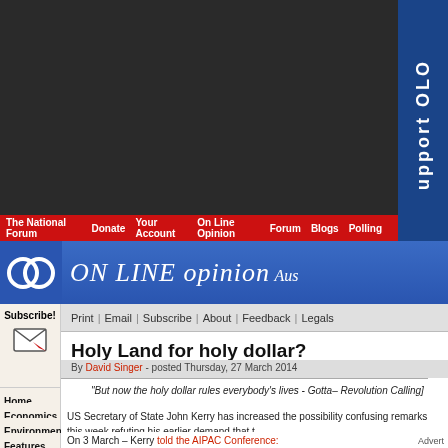[Figure (screenshot): Dark background top banner area of website]
ON LINE opinion Australia
The National Forum | Donate | Your Account | On Line Opinion | Forum | Blogs | Polling
Print | Email | Subscribe | About | Feedback | Legals
Holy Land for holy dollar?
By David Singer - posted Thursday, 27 March 2014
"But now the holy dollar rules everybody's lives - Gotta... – Revolution Calling]
US Secretary of State John Kerry has increased the possibility confusing remarks this week refuting his earlier demand that t...
On 3 March – Kerry told the AIPAC Conference:
Home
Economics
Environment
Features
Health
International
Leisure
People
Politics
Technology